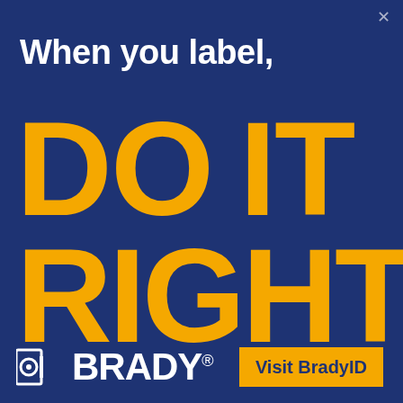×
When you label,
DO IT RIGHT
[Figure (logo): Brady company logo: circular icon with inner circle and rectangle mark, followed by BRADY wordmark in white bold text]
Visit BradyID.com